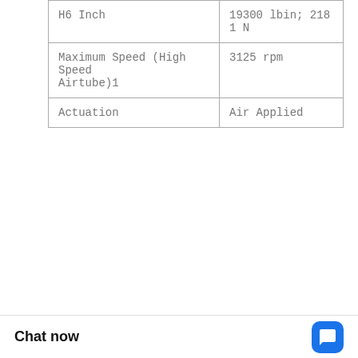| Property | Value |
| --- | --- |
| H6 Inch | 19300 lbin; 2181 N |
| Maximum Speed (High Speed Airtube)1 | 3125 rpm |
| Actuation | Air Applied |
| No. | Brand | W4 | Hub | WK2 | Size | Drum | Type | OD MM | D2 MM |
| --- | --- | --- | --- | --- | --- | --- | --- | --- | --- |
| 10 | Eaton B... |  |  |  |  |  | - | - | - | Air Applied |